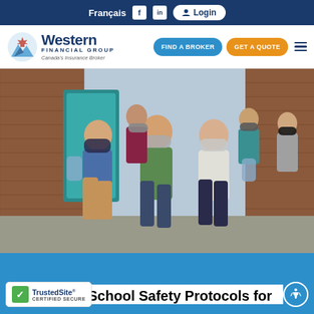Français  Login
[Figure (logo): Western Financial Group logo — Canada's Insurance Broker, with stylized mountain/maple leaf icon]
FIND A BROKER  GET A QUOTE
[Figure (photo): Group of school-age children wearing face masks, running outdoors next to a brick school building, carrying backpacks]
o School Safety Protocols for